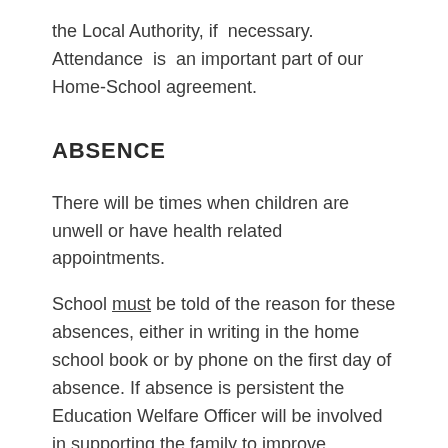the Local Authority, if necessary. Attendance is an important part of our Home-School agreement.
ABSENCE
There will be times when children are unwell or have health related appointments.
School must be told of the reason for these absences, either in writing in the home school book or by phone on the first day of absence. If absence is persistent the Education Welfare Officer will be involved in supporting the family to improve attendance.